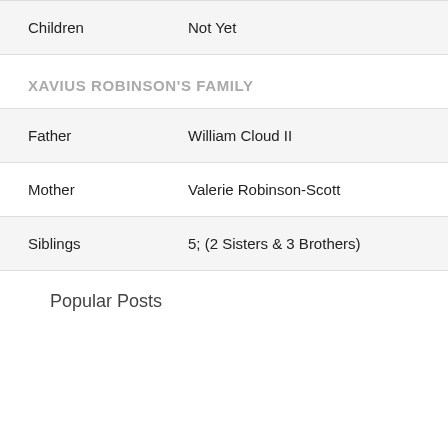| Field | Value |
| --- | --- |
| Children | Not Yet |
XAVIUS ROBINSON'S FAMILY
| Field | Value |
| --- | --- |
| Father | William Cloud II |
| Mother | Valerie Robinson-Scott |
| Siblings | 5; (2 Sisters & 3 Brothers) |
Popular Posts